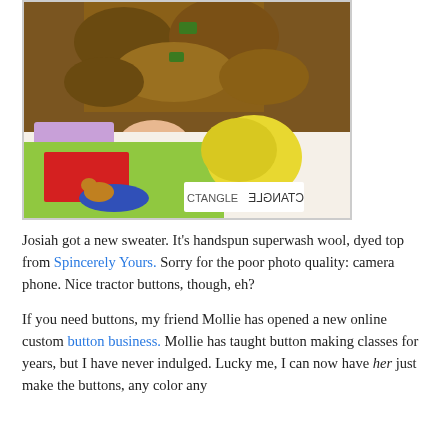[Figure (photo): A child in a brown/olive handspun wool sweater with tractor buttons, pointing at colorful educational shapes on a white surface. Child's hands visible, pointing at a shape labeled 'CTANGLE' (rectangle). Shapes include red, green, yellow, and blue pieces.]
Josiah got a new sweater. It's handspun superwash wool, dyed top from Spincerely Yours. Sorry for the poor photo quality: camera phone. Nice tractor buttons, though, eh?
If you need buttons, my friend Mollie has opened a new online custom button business. Mollie has taught button making classes for years, but I have never indulged. Lucky me, I can now have her just make the buttons, any color any